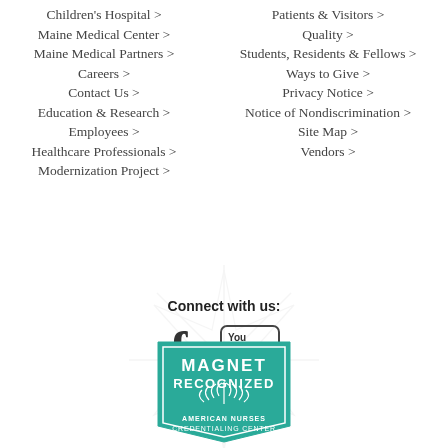Children's Hospital >
Maine Medical Center >
Maine Medical Partners >
Careers >
Contact Us >
Education & Research >
Employees >
Healthcare Professionals >
Modernization Project >
Patients & Visitors >
Quality >
Students, Residents & Fellows >
Ways to Give >
Privacy Notice >
Notice of Nondiscrimination >
Site Map >
Vendors >
Connect with us:
[Figure (logo): Facebook and YouTube social media icons]
[Figure (logo): Magnet Recognized - American Nurses Credentialing Center badge (teal/green pentagon shape)]